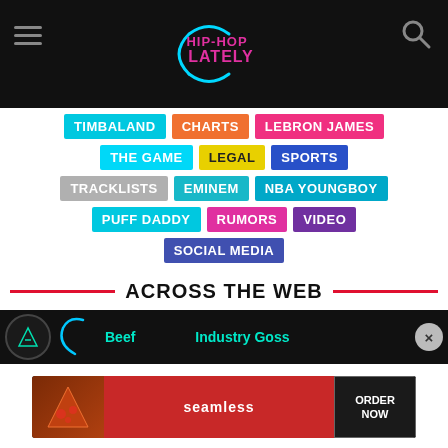Hip-Hop Lately
TIMBALAND
CHARTS
LEBRON JAMES
THE GAME
LEGAL
SPORTS
TRACKLISTS
EMINEM
NBA YOUNGBOY
PUFF DADDY
RUMORS
VIDEO
SOCIAL MEDIA
ACROSS THE WEB
Beef   Industry Gossip
[Figure (screenshot): Seamless food delivery advertisement banner with pizza image, seamless logo, and ORDER NOW button]